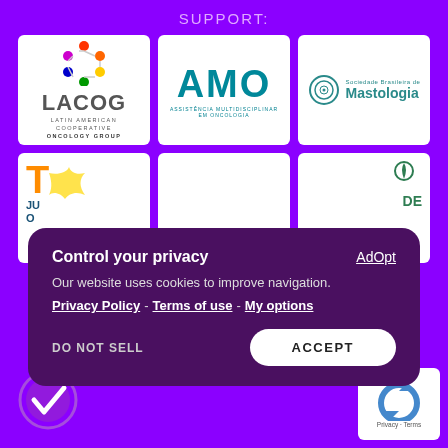SUPPORT:
[Figure (logo): LACOG - Latin American Cooperative Oncology Group logo]
[Figure (logo): AMO - Assistência Multidisciplinar em Oncologia logo]
[Figure (logo): Sociedade Brasileira de Mastologia logo]
[Figure (logo): TOPO partial logo (bottom left, partially obscured)]
[Figure (logo): Middle bottom logo box (partially obscured by popup)]
[Figure (logo): Right bottom logo with green leaf icon (partially obscured by popup)]
Control your privacy
AdOpt
Our website uses cookies to improve navigation.
Privacy Policy - Terms of use - My options
DO NOT SELL
ACCEPT
[Figure (other): Green checkmark circle icon at bottom left]
[Figure (logo): reCAPTCHA logo - Privacy · Terms]